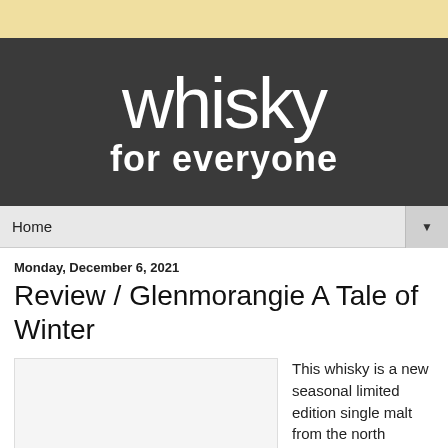[Figure (logo): Whisky For Everyone website header banner with dark grey background and white text reading 'whisky for everyone']
Home
Monday, December 6, 2021
Review / Glenmorangie A Tale of Winter
[Figure (photo): Image placeholder for Glenmorangie A Tale of Winter whisky bottle]
This whisky is a new seasonal limited edition single malt from the north